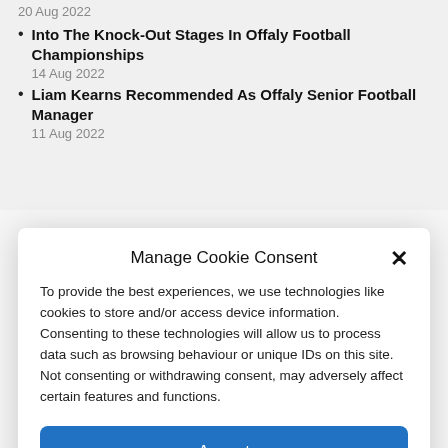20 Aug 2022
Into The Knock-Out Stages In Offaly Football Championships
14 Aug 2022
Liam Kearns Recommended As Offaly Senior Football Manager
11 Aug 2022
Manage Cookie Consent
To provide the best experiences, we use technologies like cookies to store and/or access device information. Consenting to these technologies will allow us to process data such as browsing behaviour or unique IDs on this site. Not consenting or withdrawing consent, may adversely affect certain features and functions.
Accept
Deny
View preferences